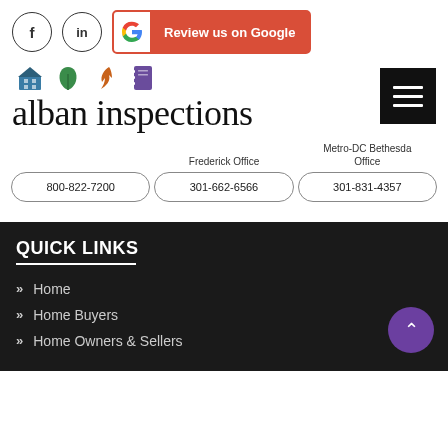[Figure (logo): Social media icons: Facebook circle, LinkedIn circle, Google Review button with Google G logo]
[Figure (logo): Alban Inspections brand icons row: house, leaf, energy, notebook icons]
alban inspections
[Figure (infographic): Hamburger menu icon (three white lines on black background)]
Frederick Office
Metro-DC Bethesda Office
800-822-7200
301-662-6566
301-831-4357
QUICK LINKS
Home
Home Buyers
Home Owners & Sellers